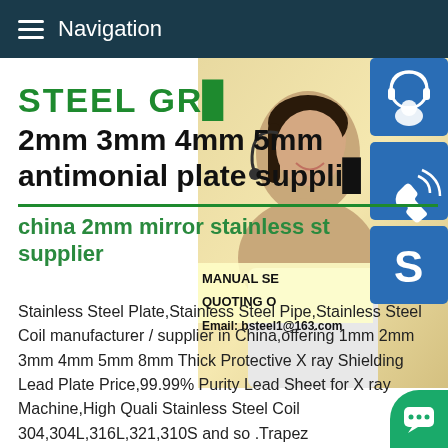Navigation
STEEL GR
2mm 3mm 4mm 5mm antimonial plate suppli
[Figure (photo): Customer service representative woman wearing headset, with contact icons on the right side (headset, phone, Skype) and MANUAL SERVICE / QUOTING O / Email: bsteel1@163.com overlay text]
china 2mm mirror stainless st supplier
Stainless Steel Plate,Stainless Steel Pipe,Stainless Steel Coil manufacturer / supplier in China,offering 1mm 2mm 3mm 4mm 5mm 8mm Thick Protective X ray Shielding Lead Plate Price,99.99% Purity Lead Sheet for X ray Machine,High Quali Stainless Steel Coil 304,304L,316L,321,310S and so .Trapez